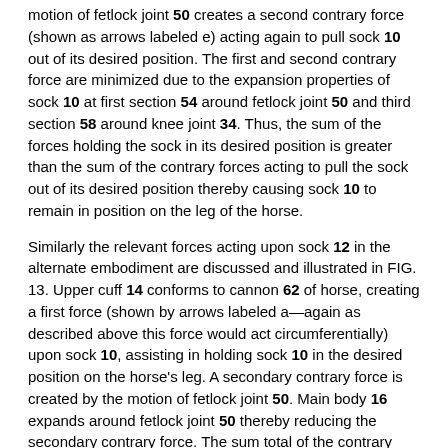motion of fetlock joint 50 creates a second contrary force (shown as arrows labeled e) acting again to pull sock 10 out of its desired position. The first and second contrary force are minimized due to the expansion properties of sock 10 at first section 54 around fetlock joint 50 and third section 58 around knee joint 34. Thus, the sum of the forces holding the sock in its desired position is greater than the sum of the contrary forces acting to pull the sock out of its desired position thereby causing sock 10 to remain in position on the leg of the horse.
Similarly the relevant forces acting upon sock 12 in the alternate embodiment are discussed and illustrated in FIG. 13. Upper cuff 14 conforms to cannon 62 of horse, creating a first force (shown by arrows labeled a—again as described above this force would act circumferentially) upon sock 10, assisting in holding sock 10 in the desired position on the horse's leg. A secondary contrary force is created by the motion of fetlock joint 50. Main body 16 expands around fetlock joint 50 thereby reducing the secondary contrary force. The sum total of the contrary forces is less than the first force, primarily acting to hold sock 12 in the desired position on the horse's leg. Additionally, as shown lower cuff 18 provides a circumferential second force (shown by arrows labeled c) acting on the pastern 42 which provides additional support to sock 12.
The preceding description contains significant detail regarding the novel